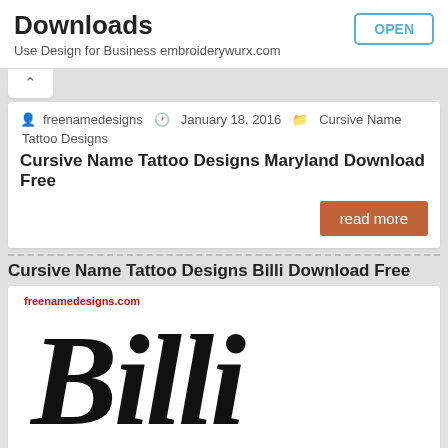Downloads
Use Design for Business embroiderywurx.com
freenamedesigns   January 18, 2016   Cursive Name Tattoo Designs
Cursive Name Tattoo Designs Maryland Download Free
read more
Cursive Name Tattoo Designs Billi Download Free
[Figure (illustration): Cursive script rendering of the name 'Billi' in large black decorative font on white background, with watermark 'freenamedesigns.com' in red at top left]